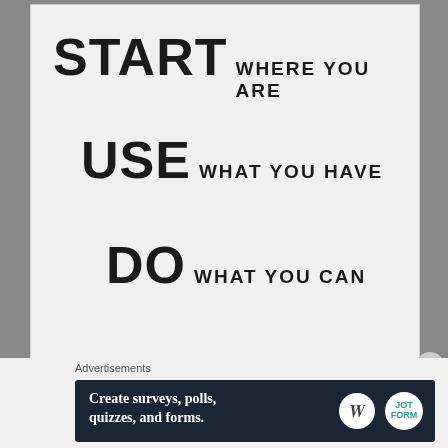[Figure (illustration): Motivational quote poster on light gray background with three staggered text lines: 'START where you are', 'USE what you have', 'DO what you can' in bold decorative uppercase font]
Advertisements
[Figure (infographic): Dark navy advertisement banner reading 'Create surveys, polls, quizzes, and forms.' with WordPress and JotForm logos on the right]